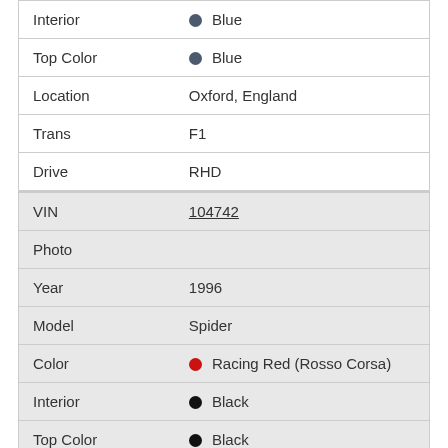| Field | Value |
| --- | --- |
| Interior | Blue |
| Top Color | Blue |
| Location | Oxford, England |
| Trans | F1 |
| Drive | RHD |
| Field | Value |
| --- | --- |
| VIN | 104742 |
| Photo |  |
| Year | 1996 |
| Model | Spider |
| Color | Racing Red (Rosso Corsa) |
| Interior | Black |
| Top Color | Black |
| Location | USA |